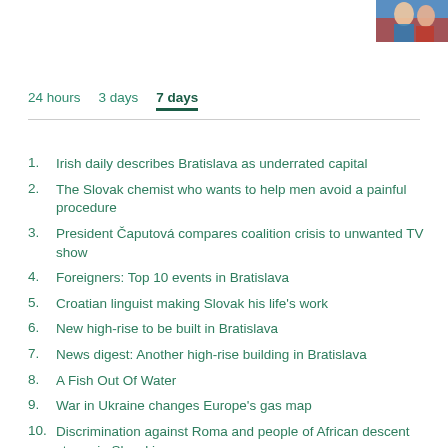[Figure (photo): Partial photo of people visible in top-right corner]
24 hours   3 days   7 days
1. Irish daily describes Bratislava as underrated capital
2. The Slovak chemist who wants to help men avoid a painful procedure
3. President Čaputová compares coalition crisis to unwanted TV show
4. Foreigners: Top 10 events in Bratislava
5. Croatian linguist making Slovak his life's work
6. New high-rise to be built in Bratislava
7. News digest: Another high-rise building in Bratislava
8. A Fish Out Of Water
9. War in Ukraine changes Europe's gas map
10. Discrimination against Roma and people of African descent strong in Slovakia